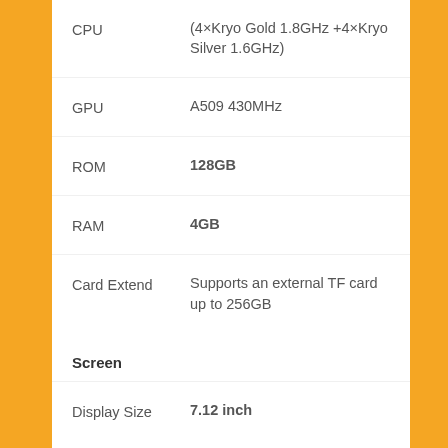| Spec | Value |
| --- | --- |
| CPU | (4×Kryo Gold 1.8GHz +4×Kryo Silver 1.6GHz) |
| GPU | A509 430MHz |
| ROM | 128GB |
| RAM | 4GB |
| Card Extend | Supports an external TF card up to 256GB |
Screen
| Spec | Value |
| --- | --- |
| Display Size | 7.12 inch |